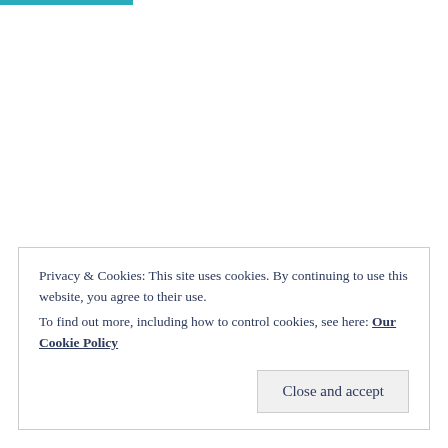Privacy & Cookies: This site uses cookies. By continuing to use this website, you agree to their use.
To find out more, including how to control cookies, see here: Our Cookie Policy
Close and accept